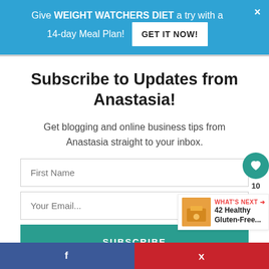Give WEIGHT WATCHERS DIET a try with a 14-day Meal Plan! GET IT NOW!
Subscribe to Updates from Anastasia!
Get blogging and online business tips from Anastasia straight to your inbox.
First Name
Your Email...
SUBSCRIBE
10
WHAT'S NEXT → 42 Healthy Gluten-Free...